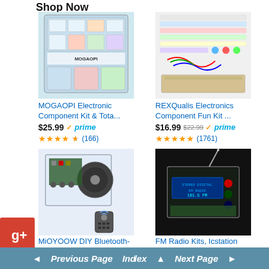Shop Now
[Figure (photo): MOGAOPI Electronic Component Kit product photo - plastic organizer box with components]
MOGAOPI Electronic Component Kit & Tota...
$25.99 ✓prime ★★★★★ (166)
[Figure (photo): REXQualis Electronics Component Fun Kit product photo - spread of components including resistors, LEDs, wires]
REXQualis Electronics Component Fun Kit ...
$16.99 $22.99 ✓prime ★★★★★ (1761)
[Figure (photo): MiOYOOW DIY Bluetooth-Compatible Speaker Kit product photo - transparent acrylic speaker assembly with remote]
MiOYOOW DIY Bluetooth-Compatible Speaker K...
[Figure (photo): FM Radio Kits, Icstation Soldering Projects DIY Electronics - transparent acrylic radio with antenna on black background]
FM Radio Kits, Icstation Soldering Projects DIY El...
◄ Previous Page   Index ▲   Next Page ►